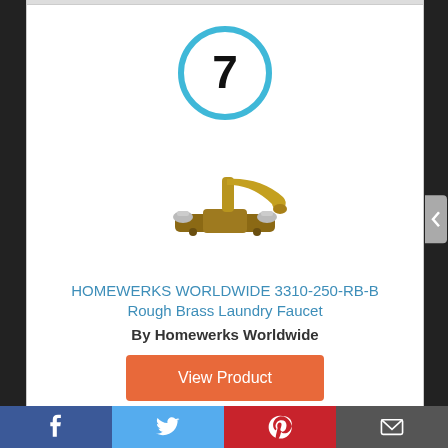[Figure (other): Number 7 inside a teal/blue circle]
[Figure (photo): Homewerks Worldwide rough brass laundry faucet product image]
HOMEWERKS WORLDWIDE 3310-250-RB-B Rough Brass Laundry Faucet
By Homewerks Worldwide
View Product